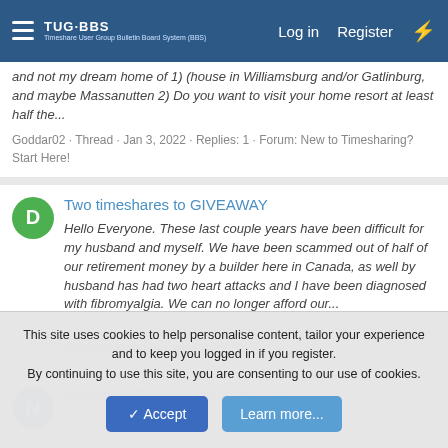TUG-BBS · Log in · Register
and not my dream home of 1) (house in Williamsburg and/or Gatlinburg, and maybe Massanutten 2) Do you want to visit your home resort at least half the...
Goddar02 · Thread · Jan 3, 2022 · Replies: 1 · Forum: New to Timesharing? Start Here!
Two timeshares to GIVEAWAY
Hello Everyone. These last couple years have been difficult for my husband and myself. We have been scammed out of half of our retirement money by a builder here in Canada, as well by husband has had two heart attacks and I have been diagnosed with fibromyalgia. We can no longer afford our...
doveout · Thread · Sep 5, 2019 · Replies: 16 · Forum: Free Timeshare Giveaways and Bargain Deals
Wanted: 2 BR Williamsburg VA July 21-28
This site uses cookies to help personalise content, tailor your experience and to keep you logged in if you register.
By continuing to use this site, you are consenting to our use of cookies.